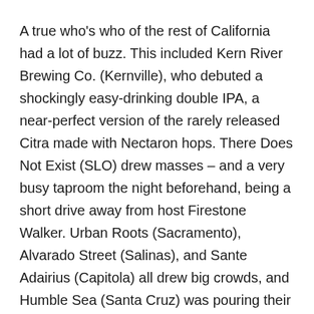A true who's who of the rest of California had a lot of buzz. This included Kern River Brewing Co. (Kernville), who debuted a shockingly easy-drinking double IPA, a near-perfect version of the rarely released Citra made with Nectaron hops. There Does Not Exist (SLO) drew masses – and a very busy taproom the night beforehand, being a short drive away from host Firestone Walker. Urban Roots (Sacramento), Alvarado Street (Salinas), and Sante Adairius (Capitola) all drew big crowds, and Humble Sea (Santa Cruz) was pouring their Keller Penelope pils from a traditional side-pull.
At what is an admittedly very hazy end of the day for